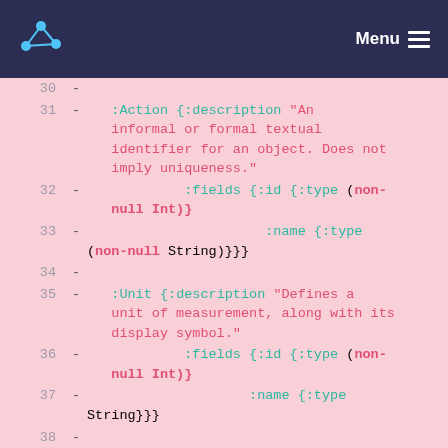Menu
Code listing lines 30-39: Clojure schema definitions for :Action, :Unit, and :Agent entities with fields :id and :name